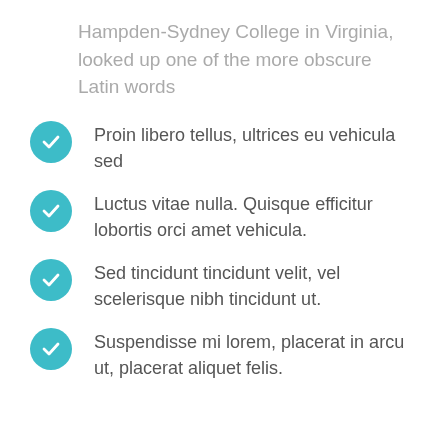Hampden-Sydney College in Virginia, looked up one of the more obscure Latin words
Proin libero tellus, ultrices eu vehicula sed
Luctus vitae nulla. Quisque efficitur lobortis orci amet vehicula.
Sed tincidunt tincidunt velit, vel scelerisque nibh tincidunt ut.
Suspendisse mi lorem, placerat in arcu ut, placerat aliquet felis.